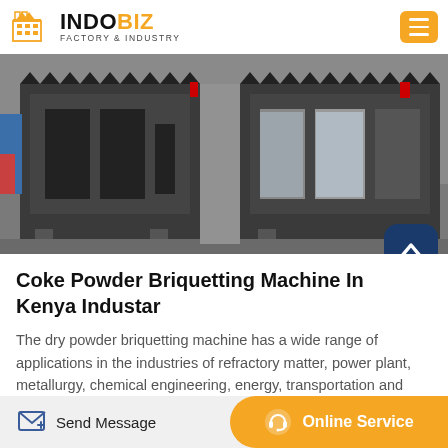INDOBIZ FACTORY & INDUSTRY
[Figure (photo): Industrial coke powder briquetting machines — large dark metal frames with zigzag top edges photographed outdoors]
Coke Powder Briquetting Machine In Kenya Industar
The dry powder briquetting machine has a wide range of applications in the industries of refractory matter, power plant, metallurgy, chemical engineering, energy, transportation and heat supply to press all kinds of powder, waste and waste residue such as iron powder, aluminum powder, iron oxide...
Send Message | Online Service